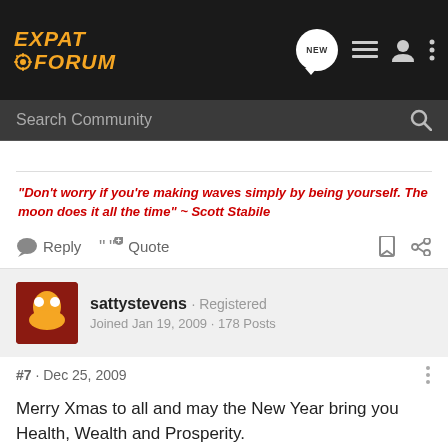EXPAT FORUM
Search Community
"Don't worry if you're making waves simply by being yourself. The moon does it all the time" ~ Scott Stabile
Reply  Quote
sattystevens · Registered
Joined Jan 19, 2009 · 178 Posts
#7 · Dec 25, 2009
Merry Xmas to all and may the New Year bring you Health, Wealth and Prosperity.